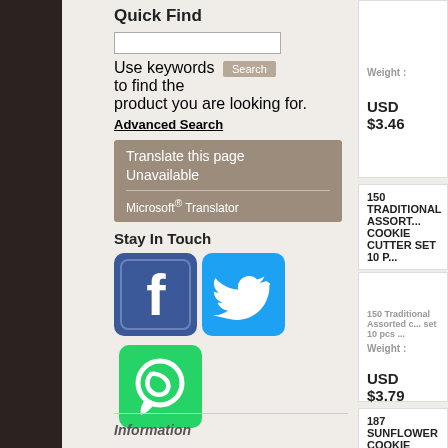Quick Find
Use keywords to find the product you are looking for.
Advanced Search
Translate this page
Unavailable
Microsoft® Translator
Stay In Touch
[Figure (logo): Facebook logo icon - blue square with white f]
[Figure (logo): Twitter logo icon - blue square with white bird]
[Figure (logo): WhatsApp logo icon - green square with white phone]
Weight :
USD $3.46
150 TRADITIONAL ASSORTED COOKIE CUTTER SET 10 P...
150 Traditional Assorted fluted cookie cutter set 10 pcs ...
Weight :
USD $3.79
187 SUNFLOWER COOKIE CUTTER
Information